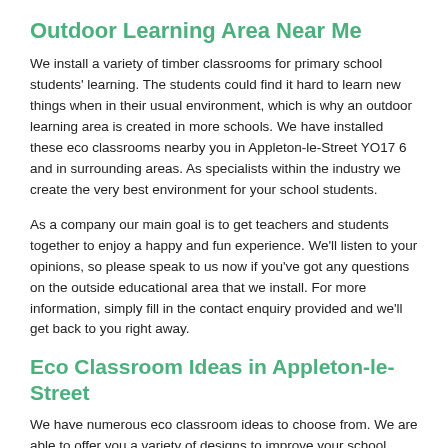Outdoor Learning Area Near Me
We install a variety of timber classrooms for primary school students' learning. The students could find it hard to learn new things when in their usual environment, which is why an outdoor learning area is created in more schools. We have installed these eco classrooms nearby you in Appleton-le-Street YO17 6 and in surrounding areas. As specialists within the industry we create the very best environment for your school students.
As a company our main goal is to get teachers and students together to enjoy a happy and fun experience. We'll listen to your opinions, so please speak to us now if you've got any questions on the outside educational area that we install. For more information, simply fill in the contact enquiry provided and we'll get back to you right away.
Eco Classroom Ideas in Appleton-le-Street
We have numerous eco classroom ideas to choose from. We are able to offer you a variety of designs to improve your school playground. It is a good idea for schools to have eco classrooms